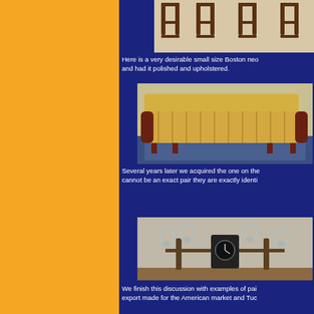[Figure (photo): Photo of antique chairs/furniture legs viewed from below, dark wood against light background]
Here is a very desirable small size Boston neo and had it polished and upholstered.
[Figure (photo): Photo of an upholstered sofa/settee with yellow and white striped fabric, mahogany frame, on a patterned rug]
Several years later we acquired the one on the cannot be an exact pair they are exactly identi
[Figure (photo): Photo of a set of antique bronze candelabra/oil lamps with glass shades flanking a black mantel clock]
We finish this discussion with examples of pai export made for the American market and Tuc